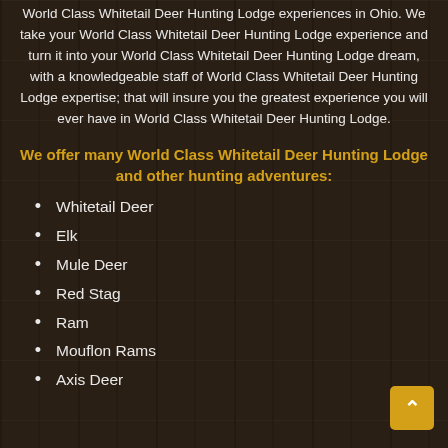World Class Whitetail Deer Hunting Lodge experiences in Ohio. We take your World Class Whitetail Deer Hunting Lodge experience and turn it into your World Class Whitetail Deer Hunting Lodge dream, with a knowledgeable staff of World Class Whitetail Deer Hunting Lodge expertise; that will insure you the greatest experience you will ever have in World Class Whitetail Deer Hunting Lodge.
We offer many World Class Whitetail Deer Hunting Lodge and other hunting adventures:
Whitetail Deer
Elk
Mule Deer
Red Stag
Ram
Mouflon Rams
Axis Deer